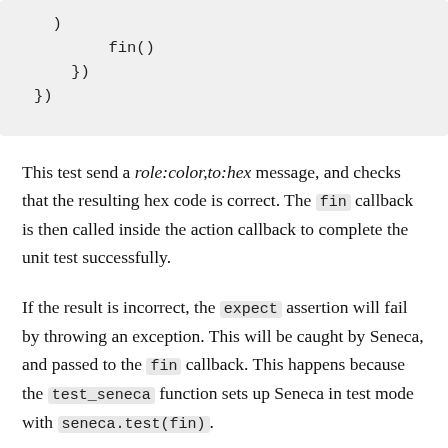[Figure (screenshot): Code block showing closing parentheses and fin() callback: )
        fin()
    })
})]
This test send a role:color,to:hex message, and checks that the resulting hex code is correct. The fin callback is then called inside the action callback to complete the unit test successfully.
If the result is incorrect, the expect assertion will fail by throwing an exception. This will be caught by Seneca, and passed to the fin callback. This happens because the test_seneca function sets up Seneca in test mode with seneca.test(fin).